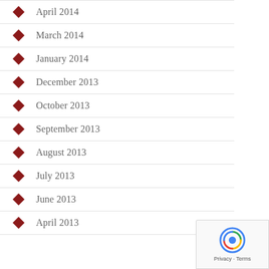April 2014
March 2014
January 2014
December 2013
October 2013
September 2013
August 2013
July 2013
June 2013
April 2013